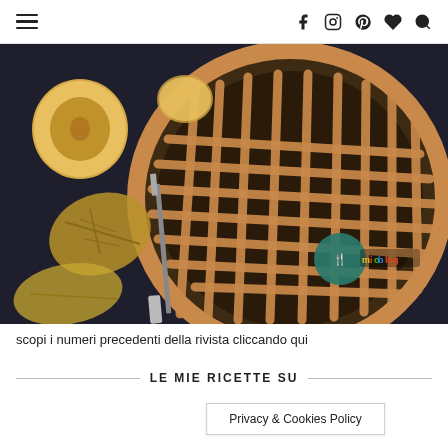≡  f  [instagram]  [pinterest]  [heart]  [search]
[Figure (photo): Top-down photo of a lattice-topped apple pie on a dark background, surrounded by apple slices, dried autumn leaves, and a knife. A small teal circular logo with a fork icon and colorful text appears on the pie.]
scopi i numeri precedenti della rivista cliccando qui
LE MIE RICETTE SU
Privacy & Cookies Policy